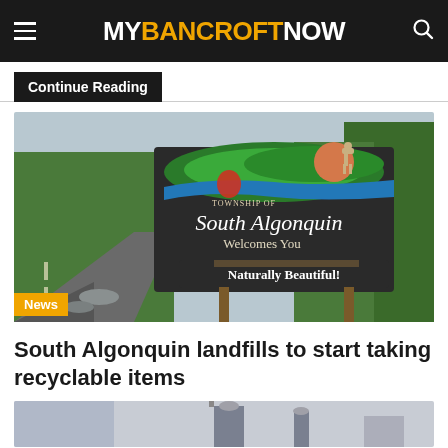MYBANCROFTNOW
Continue Reading
[Figure (photo): Township of South Algonquin Welcomes You - Naturally Beautiful! welcome sign along a road surrounded by trees, with a news badge overlay reading 'News']
South Algonquin landfills to start taking recyclable items
[Figure (photo): Bottom portion of another article image peeking from the bottom of the page]